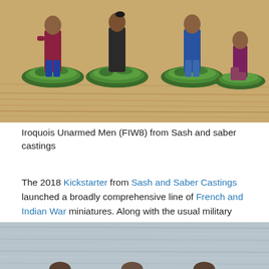[Figure (photo): Four painted miniature figurines of Iroquois Unarmed Men (FIW8) from Sash and Saber Castings, standing on green textured bases on a wooden surface.]
Iroquois Unarmed Men (FIW8) from Sash and saber castings
The 2018 Kickstarter from Sash and Saber Castings launched a broadly comprehensive line of French and Indian War miniatures. Along with the usual military models, the range presented a nice selection of Indian civilians often ignored by wargaming manufacturers.
[Figure (photo): Partial view of additional miniature figurines on a grey/blue textured surface, partially visible at the bottom of the page.]